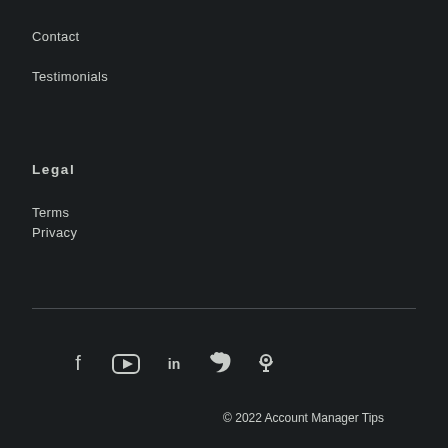Contact
Testimonials
Legal
Terms
Privacy
[Figure (other): Social media icons: Facebook, YouTube, LinkedIn, Twitter, Podcast]
© 2022 Account Manager Tips